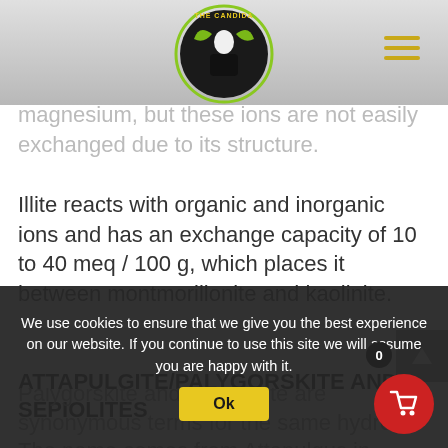THE CANDIDA [logo with navigation]
magnesium, but these ions are not easily exchanged due to its structure.
Illite reacts with organic and inorganic ions and has an exchange capacity of 10 to 40 meq / 100 g, which places it between montmorillonite and kaolinite.
ATTAPULGITE/PALYGORSKITE AND SEPIOLITES
The name comes from Attapulgus in
Palygorskite and attapulgite are synonymous terms for the same hydrous
We use cookies to ensure that we give you the best experience on our website. If you continue to use this site we will assume you are happy with it.